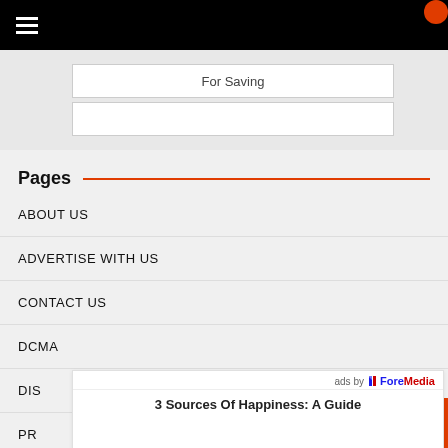☰ (hamburger menu, navigation bar)
For Saving
Pages
ABOUT US
ADVERTISE WITH US
CONTACT US
DCMA
DIS
PR
ads by ForeMedia
3 Sources Of Happiness: A Guide